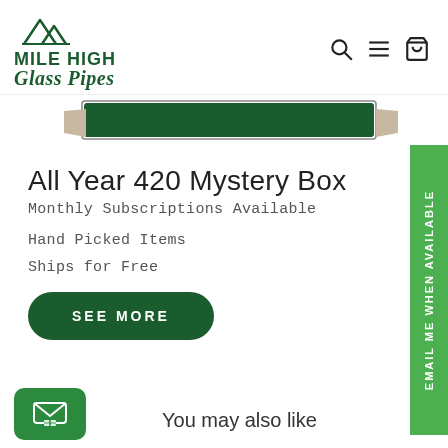[Figure (logo): Mile High Glass Pipes logo with mountain graphic and green text]
[Figure (screenshot): Navigation icons: search, hamburger menu, shopping bag]
[Figure (photo): Partial product image strip showing a dark green glass pipe/box]
All Year 420 Mystery Box
Monthly Subscriptions Available
Hand Picked Items
Ships for Free
SEE MORE
[Figure (infographic): Green vertical sidebar button with rotated text: EMAIL ME WHEN AVAILABLE]
You may also like
[Figure (illustration): Green chat/inbox icon button in bottom left corner]